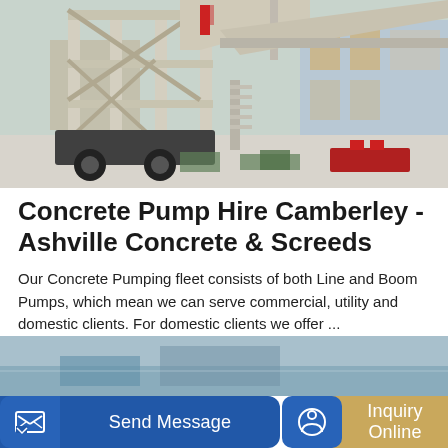[Figure (photo): Industrial concrete pump / batching plant machinery on a construction site, large steel frame structure on wheels with conveyor belt, outdoor setting with building in background]
Concrete Pump Hire Camberley - Ashville Concrete & Screeds
Our Concrete Pumping fleet consists of both Line and Boom Pumps, which mean we can serve commercial, utility and domestic clients. For domestic clients we offer ...
Learn More
[Figure (photo): Partial view of another concrete or construction machinery photo at the bottom of the page]
Send Message
Inquiry Online